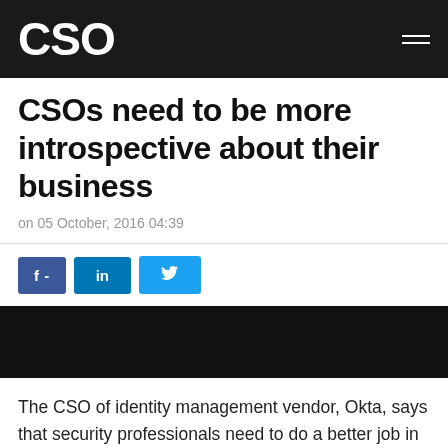CSO
CSOs need to be more introspective about their business
on 05 October, 2016 04:39
[Figure (infographic): Social sharing buttons: Facebook, LinkedIn, Twitter]
[Figure (photo): Black image placeholder/banner]
The CSO of identity management vendor, Okta, says that security professionals need to do a better job in understanding their organisation's wider business before presenting their risk assessment to upper management or at the board level.